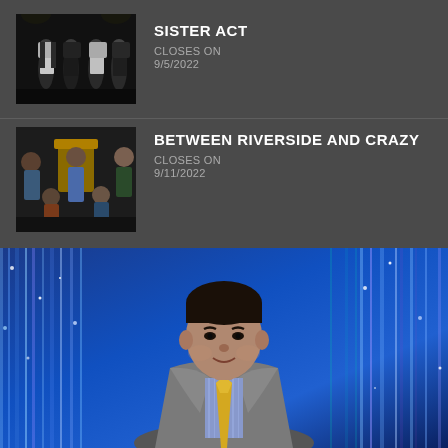[Figure (photo): Theater production photo for Sister Act showing cast in nun costumes on dark stage]
SISTER ACT
CLOSES ON
9/5/2022
[Figure (photo): Theater production photo for Between Riverside and Crazy showing cast posed together]
BETWEEN RIVERSIDE AND CRAZY
CLOSES ON
9/11/2022
[Figure (photo): Headshot of a man in a grey suit with yellow tie and blue striped shirt against a blue sparkly curtain background]